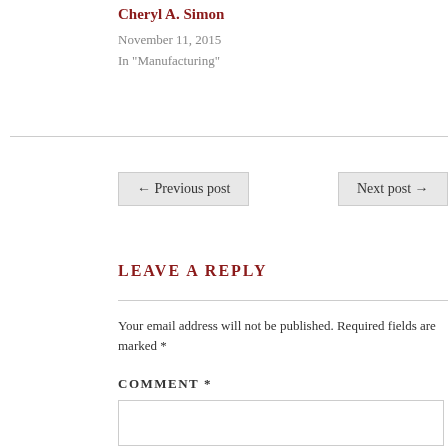Cheryl A. Simon
November 11, 2015
In "Manufacturing"
← Previous post
Next post →
LEAVE A REPLY
Your email address will not be published. Required fields are marked *
COMMENT *